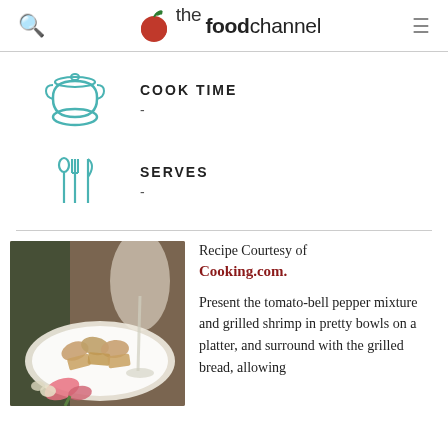the foodchannel
COOK TIME
[Figure (illustration): Teal icon of a cooking pot with lid]
-
SERVES
[Figure (illustration): Teal icon of cutlery (spoon, fork, knife)]
-
[Figure (photo): Photo of shrimp bruschetta on a plate with wine glass and flowers]
Recipe Courtesy of Cooking.com.
Present the tomato-bell pepper mixture and grilled shrimp in pretty bowls on a platter, and surround with the grilled bread, allowing